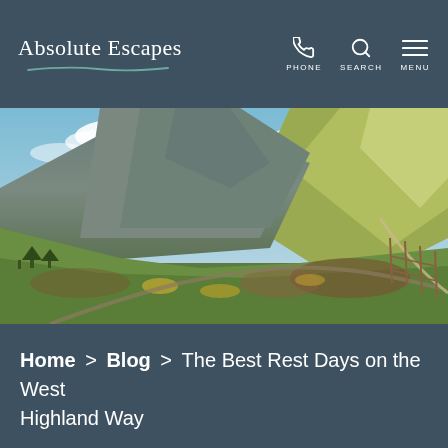Absolute Escapes | PHONE SEARCH MENU
[Figure (photo): Landscape photograph of Scottish Highlands showing green mountains, a winding road and path, blue sky with clouds, heather-covered hillsides, and wooden fence posts in the foreground. Likely Glen Coe or West Highland Way area.]
Home > Blog > The Best Rest Days on the West Highland Way